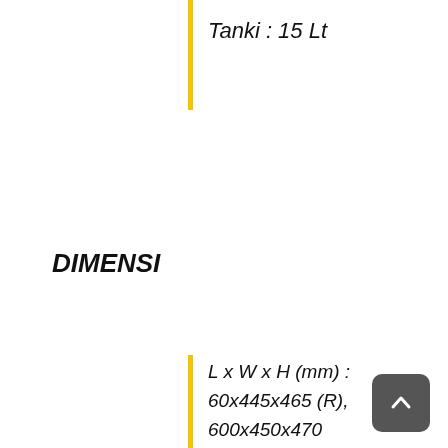Tanki : 15 Lt
DIMENSI
L x W x H (mm) :
60x445x465 (R),
600x450x470
(RE),
600x450x470
(SE)
Berat kosong :
44.5 kg (R), 48